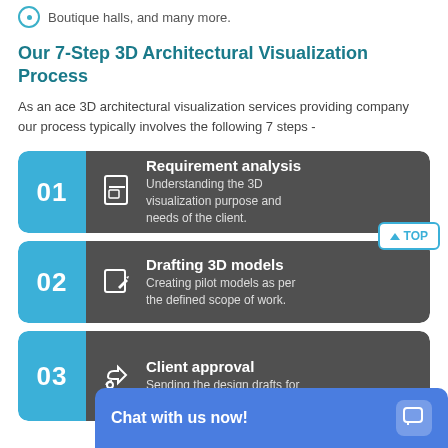Boutique halls, and many more.
Our 7-Step 3D Architectural Visualization Process
As an ace 3D architectural visualization services providing company our process typically involves the following 7 steps -
01 Requirement analysis — Understanding the 3D visualization purpose and needs of the client.
02 Drafting 3D models — Creating pilot models as per the defined scope of work.
03 Client approval — Sending the design drafts for